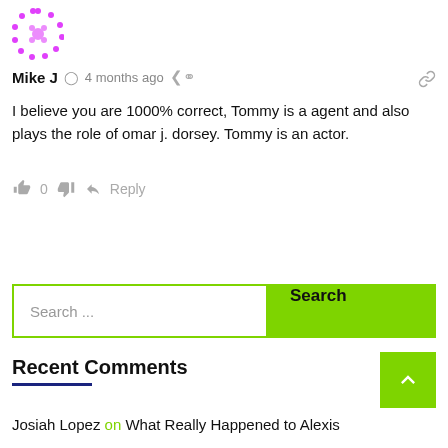[Figure (illustration): Pink/magenta circular avatar icon with dot pattern border]
Mike J  4 months ago
I believe you are 1000% correct, Tommy is a agent and also plays the role of omar j. dorsey. Tommy is an actor.
0  Reply
Search ...  Search
Recent Comments
Josiah Lopez on What Really Happened to Alexis